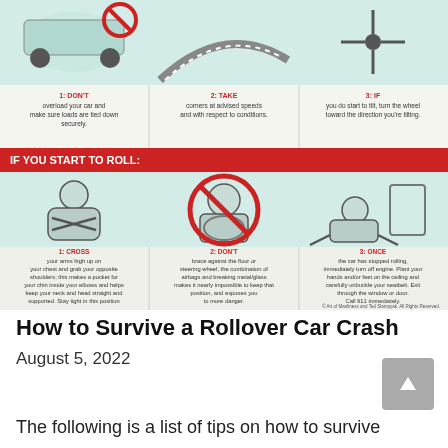[Figure (infographic): A rollover car crash survival infographic with two sections. Top section shows 3 illustrated panels: 1: DON'T overload your car and make sure loads are tied down securely. 2: TAKE corners at advised speeds and with respect to conditions. 3: IF you do start to tilt, turn the wheel toward the direction you're tilting. Bottom section labeled 'IF YOU START TO ROLL:' shows 3 more panels: 1: CROSS your arms high up on your chest and grab your opposite shoulders; this makes a pocket for your chin inside your elbows and helps keep your neck and head straight and supported. Stay tight in this position like a turtle. 2: DON'T brace against the floor or steering wheel; the combination of airbags and breaking metal/glass makes it nearly impossible to keep that position, and exposes you to more danger. 3: ONCE the car has stopped rolling, immediately turn off engine. Plant your hands and/or feet on the ceiling and carefully unbuckle your seatbelt. Exit through the window or door. Call 911 immediately. Copyright Art of Manliness and Ted Slampyak. All Rights Reserved.]
How to Survive a Rollover Car Crash
August 5, 2022
The following is a list of tips on how to survive